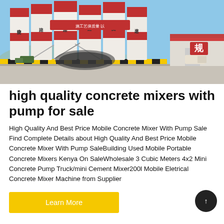[Figure (photo): Industrial concrete mixing plant with tall white and red cylindrical silos featuring Chinese characters, yellow-black hazard striping at the base, blue sky background, and a red-roofed warehouse on the right side.]
high quality concrete mixers with pump for sale
High Quality And Best Price Mobile Concrete Mixer With Pump Sale Find Complete Details about High Quality And Best Price Mobile Concrete Mixer With Pump SaleBuilding Used Mobile Portable Concrete Mixers Kenya On SaleWholesale 3 Cubic Meters 4x2 Mini Concrete Pump Truck/mini Cement Mixer200l Mobile Eletrical Concrete Mixer Machine from Supplier
Learn More